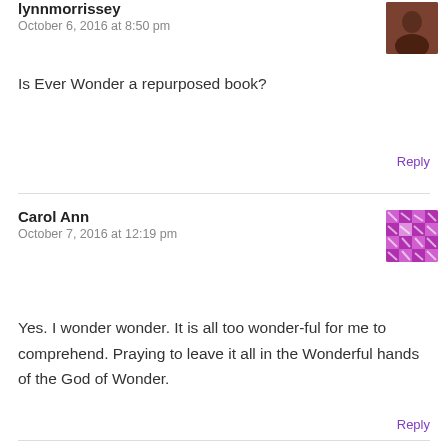lynnmorrissey
October 6, 2016 at 8:50 pm
Is Ever Wonder a repurposed book?
Reply
Carol Ann
October 7, 2016 at 12:19 pm
Yes. I wonder wonder. It is all too wonder-ful for me to comprehend. Praying to leave it all in the Wonderful hands of the God of Wonder.
Reply